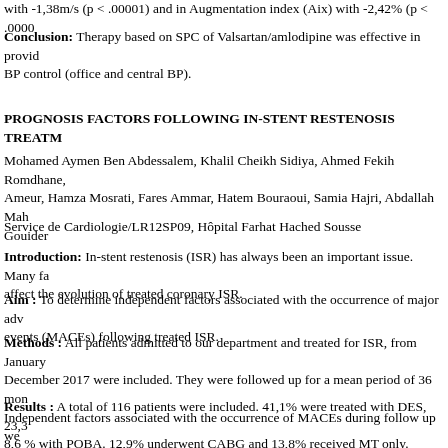with -1,38m/s (p < .00001) and in Augmentation index (Aix) with -2,42% (p < .0000
Conclusion: Therapy based on SPC of Valsartan/amlodipine was effective in providing BP control (office and central BP).
PROGNOSIS FACTORS FOLLOWING IN-STENT RESTENOSIS TREATM
Mohamed Aymen Ben Abdessalem, Khalil Cheikh Sidiya, Ahmed Fekih Romdhane, Ameur, Hamza Mosrati, Fares Ammar, Hatem Bouraoui, Samia Hajri, Abdallah Mah Gouider
Service de Cardiologie/LR12SP09, Hôpital Farhat Hached Sousse
Introduction: In-stent restenosis (ISR) has always been an important issue. Many fa affect the evolution of treated coronary ISR.
Aim : To determine independent factors associated with the occurrence of major adv events (MACEs) following treated ISR.
Methods : All patients admitted to our department and treated for ISR, from January December 2017 were included. They were followed up for a mean period of 36 mon Independent factors associated with the occurrence of MACEs during follow up we multivariate logistic regression.
Results : A total of 116 patients were included. 41,1% were treated with DES, 23,3 8,6 % with POBA. 12,9% underwent CABG and 13,8% received MT only. During f 37,9% of patients had at least one MACE. The mean delay to the occurrence of the 15 months. Independent risk factors identified with multivariate logistic regression w proximal left anterior descending (LAD) artery (OR 1,29; [95% CI 1,16 – 1,91]; p= ISR (OR 2,16; [95% CI 1,10 – 3,47]; p=0,022), more than two stents from the first 1,89; [95% CI 1,14 – 2,21]; p=0,031), three-vessel coronary artery disease (OR 2,9